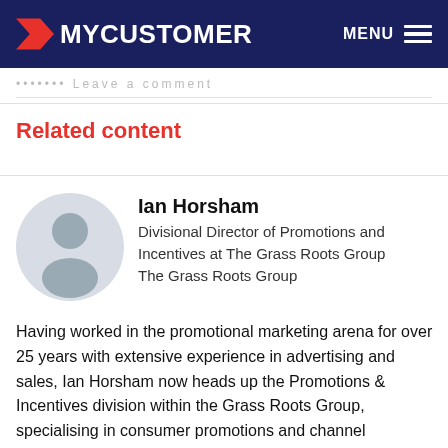MYCUSTOMER  MENU
Leave a comment
Related content
[Figure (illustration): Circular avatar placeholder icon with grey silhouette of a person on light grey background]
Ian Horsham
Divisional Director of Promotions and Incentives at The Grass Roots Group
The Grass Roots Group
Having worked in the promotional marketing arena for over 25 years with extensive experience in advertising and sales, Ian Horsham now heads up the Promotions & Incentives division within the Grass Roots Group, specialising in consumer promotions and channel incentives.